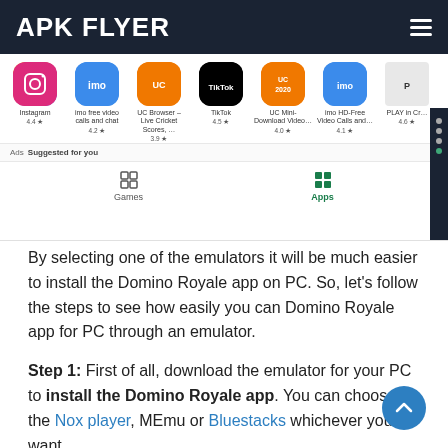APK FLYER
[Figure (screenshot): Screenshot of a Google Play Store app listing showing app icons (Instagram 4.4★, imo free video calls and chat 4.2★, UC Browser – Live Cricket Scores 3.9★, TikTok 4.5★, UC Mini-Download Video 4.0★, imo HD-Free Video Calls 4.1★, PLAY 4.5★), an 'Ads Suggested for you' bar, and Games/Apps tabs.]
By selecting one of the emulators it will be much easier to install the Domino Royale app on PC. So, let's follow the steps to see how easily you can Domino Royale app for PC through an emulator.
Step 1: First of all, download the emulator for your PC to install the Domino Royale app. You can choose the Nox player, MEmu or Bluestacks whichever you want.
Step 2: After completing the emulator installation process,